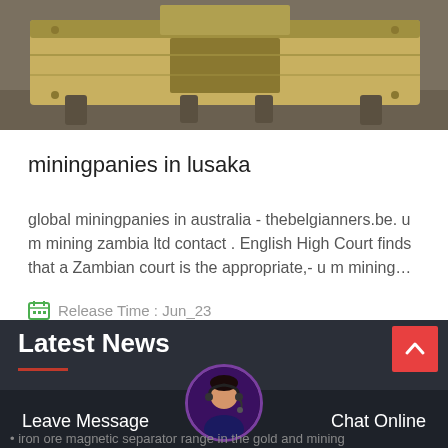[Figure (photo): Heavy industrial mining equipment (yellow/tan colored crusher or separator machine) on a factory floor]
miningpanies in lusaka
global miningpanies in australia - thebelgianners.be. u m mining zambia ltd contact . English High Court finds that a Zambian court is the appropriate,- u m mining…
Release Time : Jun_23
Latest News
iron ore magnetic separator range in the gold and mining